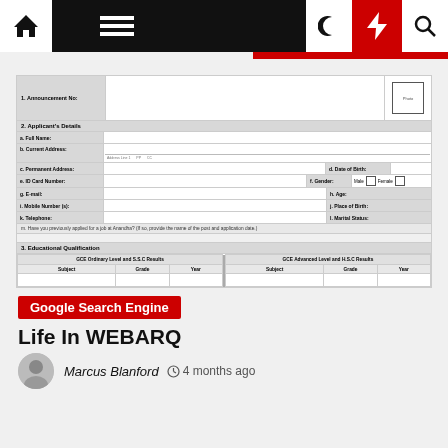Navigation bar with home, menu, moon, bolt, and search icons
[Figure (screenshot): Partial job application form showing fields: Announcement No., Applicant's Details (Full Name, Current Address, Permanent Address, Date of Birth, ID Card Number, Gender Male/Female, E-mail, Age, Mobile Number, Place of Birth, Telephone, Marital Status), a question about previous applications at Anandha, and Educational Qualification table with GCE Ordinary Level and S.S.C Results (Subject, Grade, Year) and GCE Advanced Level and H.S.C Results (Subject, Grade, Year)]
Google Search Engine
Life In WEBARQ
Marcus Blanford  ⊙ 4 months ago